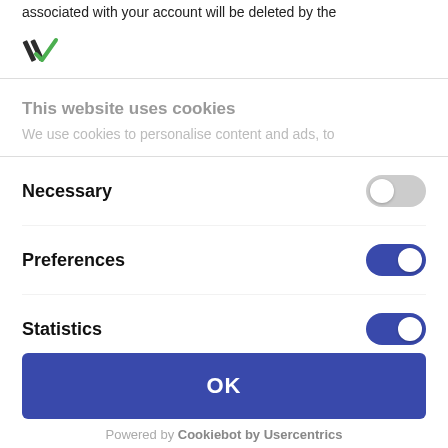associated with your account will be deleted by the
[Figure (logo): App logo with dark and green angled lines/arrows]
This website uses cookies
We use cookies to personalise content and ads, to
Necessary
Preferences
Statistics
OK
Powered by Cookiebot by Usercentrics
subject to a balancing of your interest in the non-